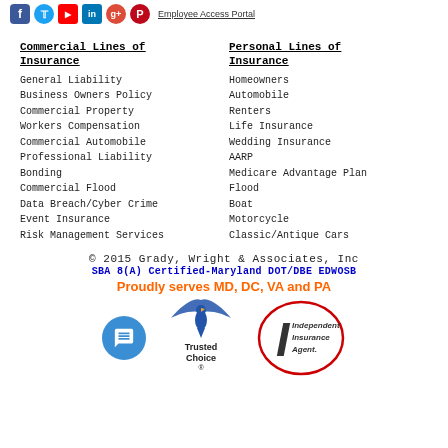[Figure (logo): Social media icons: Facebook, Twitter, YouTube, LinkedIn, Google+, Pinterest, and Employee Access Portal link]
Commercial Lines of Insurance
General Liability
Business Owners Policy
Commercial Property
Workers Compensation
Commercial Automobile
Professional Liability
Bonding
Commercial Flood
Data Breach/Cyber Crime
Event Insurance
Risk Management Services
Personal Lines of Insurance
Homeowners
Automobile
Renters
Life Insurance
Wedding Insurance
AARP
Medicare Advantage Plan
Flood
Boat
Motorcycle
Classic/Antique Cars
© 2015 Grady, Wright & Associates, Inc
SBA 8(A) Certified-Maryland DOT/DBE EDWOSB
Proudly serves MD, DC, VA and PA
[Figure (logo): Chat button icon (blue circle with speech bubble), Trusted Choice logo, Independent Insurance Agent logo]